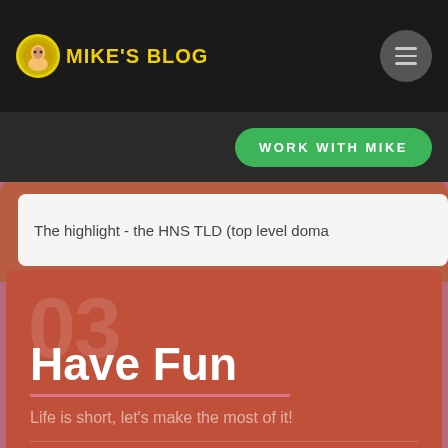MIKE'S BLOG
WORK WITH MIKE
The highlight - the HNS TLD (top level doma…
Have Fun
Life is short, let's make the most of it!
Follow & Subscribe